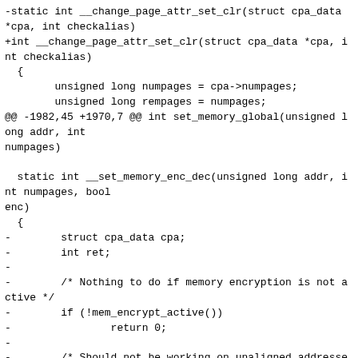-static int __change_page_attr_set_clr(struct cpa_data *cpa, int checkalias)
+int __change_page_attr_set_clr(struct cpa_data *cpa, int checkalias)
  {
        unsigned long numpages = cpa->numpages;
        unsigned long rempages = numpages;
@@ -1982,45 +1970,7 @@ int set_memory_global(unsigned long addr, int numpages)

  static int __set_memory_enc_dec(unsigned long addr, int numpages, bool enc)
  {
-        struct cpa_data cpa;
-        int ret;
-
-        /* Nothing to do if memory encryption is not active */
-        if (!mem_encrypt_active())
-                return 0;
-
-        /* Should not be working on unaligned addresses */
-
-        if (WARN_ONCE(addr & ~PAGE_MASK, "misaligned address: %#lx\n", addr))
-                addr &= PAGE_MASK;
-